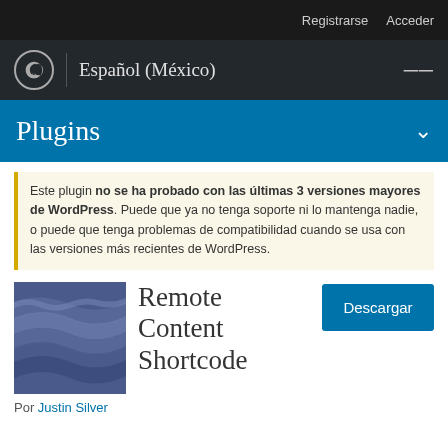Registrarse  Acceder
Español (México)
Plugins
Este plugin no se ha probado con las últimas 3 versiones mayores de WordPress. Puede que ya no tenga soporte ni lo mantenga nadie, o puede que tenga problemas de compatibilidad cuando se usa con las versiones más recientes de WordPress.
[Figure (illustration): Plugin thumbnail image with blue wave pattern]
Remote Content Shortcode
Descargar
Por Justin Silver